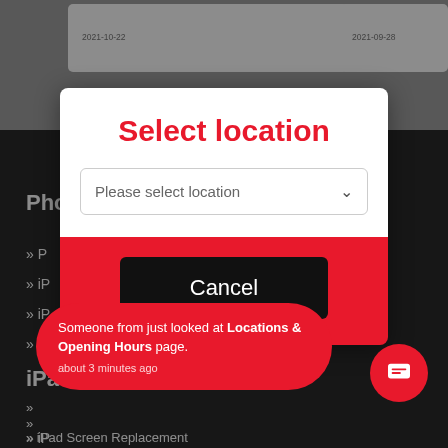[Figure (screenshot): Gray top area with two white date cards showing '2021-10-22' and '2021-09-28']
Phone Repairs
» P...
» iP...
» iP...
» iP...
iPa...
Select location
Please select location
Cancel
Someone from just looked at Locations & Opening Hours page. about 3 minutes ago